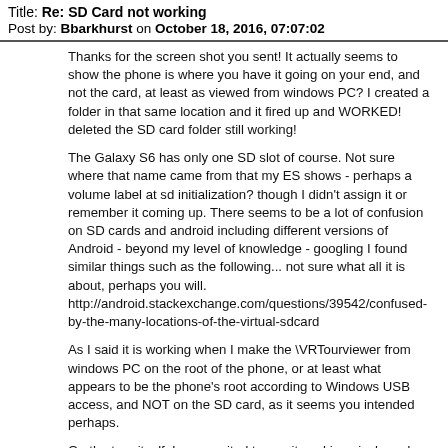Title: Re: SD Card not working
Post by: Bbarkhurst on October 18, 2016, 07:07:02
Thanks for the screen shot you sent! It actually seems to show the phone is where you have it going on your end, and not the card, at least as viewed from windows PC?  I created a folder in that same location and it fired up and WORKED! deleted the SD card folder still working!
The Galaxy S6 has only one SD slot of course. Not sure where that name came from that my ES shows - perhaps a volume label at sd initialization? though I didn't assign it or remember it coming up.  There seems to be a lot of confusion on SD cards and android including different versions of Android - beyond my level of knowledge - googling I found similar things such as the following... not sure what all it is about, perhaps you will. http://android.stackexchange.com/questions/39542/confused-by-the-many-locations-of-the-virtual-sdcard
As I said it is working when I make the \VRTourviewer from windows PC on the root of the phone, or at least what appears to be the phone's root according to Windows USB access, and NOT on the SD card, as it seems you intended perhaps.
On the tour itself,  I was excited to see it working nicely and the lense flairs add a nice effect.  I did notice, it does seems to ignore when jumping to a pano the starting view points I had set, and also the starting viewpoint of first pano I set - it seems to take a mid point or a certain cube face and that's it (about middle of source pano).